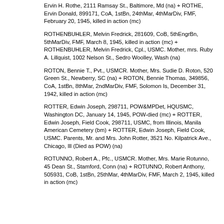Ervin H. Rothe, 2111 Ramsay St., Baltimore, Md (na) + ROTHE, Ervin Donald, 899171, CoA, 1stBn, 24thMar, 4thMarDiv, FMF, February 20, 1945, killed in action (mc)
ROTHENBUHLER, Melvin Fredrick, 281609, CoB, 5thEngrBn, 5thMarDiv, FMF, March 8, 1945, killed in action (mc) + ROTHENBUHLER, Melvin Fredrick, Cpl., USMC. Mother, mrs. Ruby A. Lillquist, 1002 Nelson St., Sedro Woolley, Wash (na)
ROTON, Bennie T., Pvt., USMCR. Mother, Mrs. Sudie D. Roton, 520 Green St., Newberry, SC (na) + ROTON, Bennie Thomas, 349856, CoA, 1stBn, 8thMar, 2ndMarDiv, FMF, Solomon Is, December 31, 1942, killed in action (mc)
ROTTER, Edwin Joseph, 298711, POW&MPDet, HQUSMC, Washington DC, January 14, 1945, POW-died (mc) + ROTTER, Edwin Joseph, Field Cook, 298711, USMC, from Illinois, Manila American Cemetery (bm) + ROTTER, Edwin Joseph, Field Cook, USMC. Parents, Mr. and Mrs. John Rotter, 3521 No. Kilpatrick Ave., Chicago, Ill (Died as POW) (na)
ROTUNNO, Robert A., Pfc., USMCR. Mother, Mrs. Marie Rotunno, 45 Dean St., Stamford, Conn (na) + ROTUNNO, Robert Anthony, 505931, CoB, 1stBn, 25thMar, 4thMarDiv, FMF, March 2, 1945, killed in action (mc)